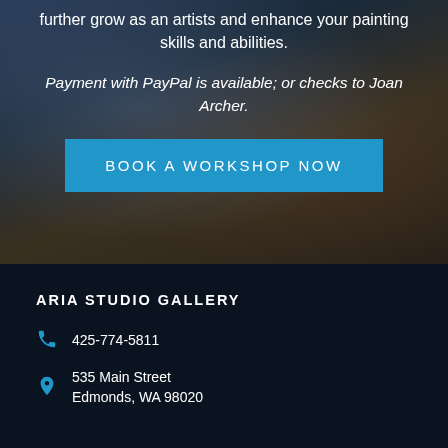further grow as an artists and enhance your painting skills and abilities.
Payment with PayPal is available; or checks to Joan Archer.
BOOK A WORKSHOP NOW
ARIA STUDIO GALLERY
425-774-5811
535 Main Street
Edmonds, WA 98020